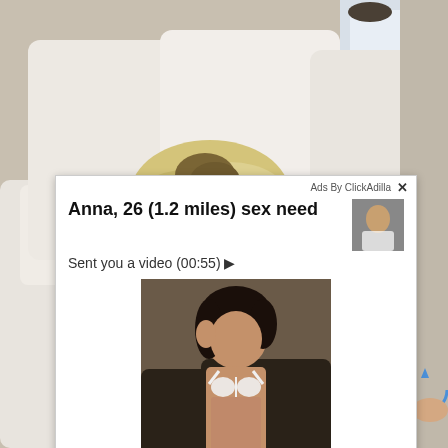[Figure (photo): Background photo showing a person with blonde hair face-down on a white couch/sofa in a living room setting]
[Figure (screenshot): Ad overlay popup from ClickAdilla: 'Anna, 26 (1.2 miles) sex need — Sent you a video (00:55)' with thumbnail and main image of a woman in a white bikini sitting in a car. Footer shows '2md'.]